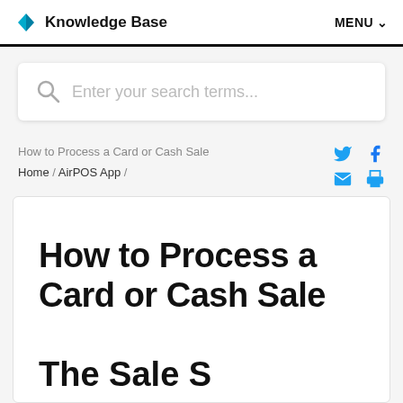Knowledge Base    MENU
Enter your search terms...
How to Process a Card or Cash Sale
Home / AirPOS App /
How to Process a Card or Cash Sale
The Sale S...